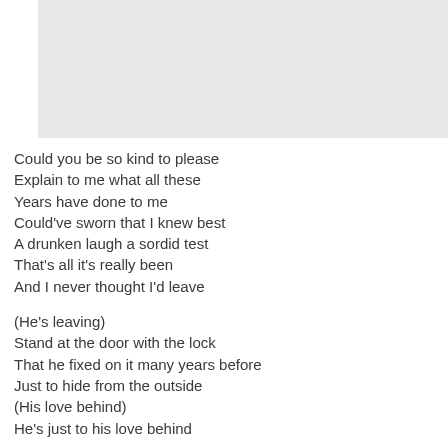[Figure (other): Gray rectangular image placeholder at the top of the page]
Could you be so kind to please
Explain to me what all these
Years have done to me
Could've sworn that I knew best
A drunken laugh a sordid test
That's all it's really been
And I never thought I'd leave

(He's leaving)
Stand at the door with the lock
That he fixed on it many years before
Just to hide from the outside
(His love behind)
He's just to his love behind